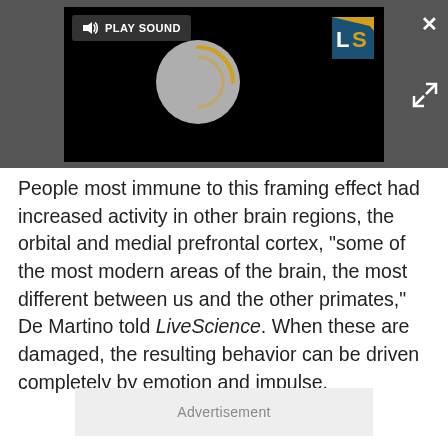[Figure (screenshot): Video player panel on dark gray background showing a black video area with a 'PLAY SOUND' button, a circular loading spinner, an LS (LiveScience) logo, a close X button, and an expand button.]
People most immune to this framing effect had increased activity in other brain regions, the orbital and medial prefrontal cortex, "some of the most modern areas of the brain, the most different between us and the other primates," De Martino told LiveScience. When these are damaged, the resulting behavior can be driven completely by emotion and impulse.
Advertisement